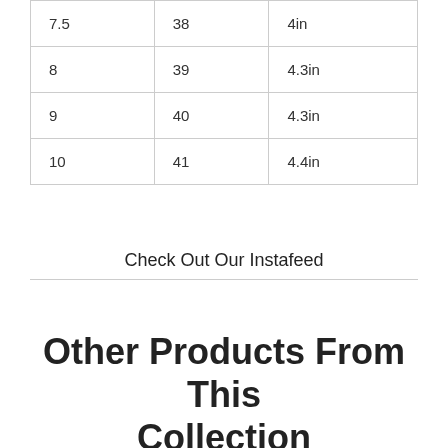| 7.5 | 38 | 4in |
| 8 | 39 | 4.3in |
| 9 | 40 | 4.3in |
| 10 | 41 | 4.4in |
Check Out Our Instafeed
Other Products From This Collection